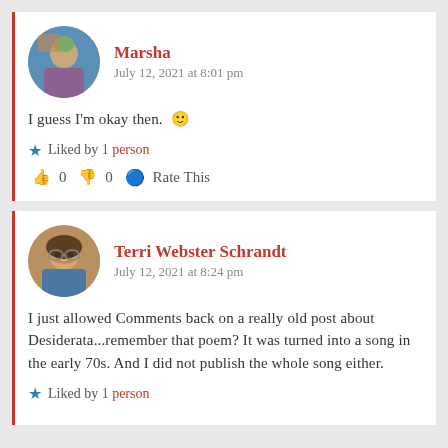Marsha
July 12, 2021 at 8:01 pm
I guess I'm okay then. 🙂
★ Liked by 1 person
👍 0 👎 0 ℹ Rate This
Terri Webster Schrandt
July 12, 2021 at 8:24 pm
I just allowed Comments back on a really old post about Desiderata...remember that poem? It was turned into a song in the early 70s. And I did not publish the whole song either.
★ Liked by 1 person